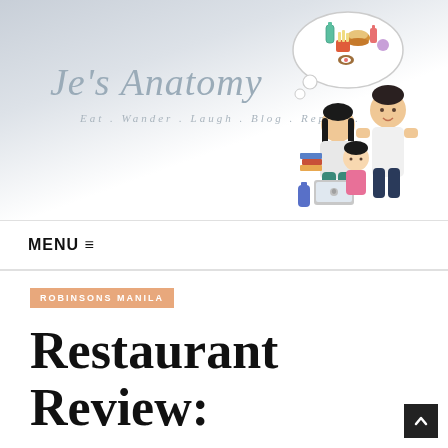[Figure (illustration): Blog header for 'Je's Anatomy' featuring script logo text, tagline 'Eat . Wander . Laugh . Blog . Repeat', and a cartoon illustration of a family (man, woman, child) with food and laptop, thought bubble with food items, on a gray watercolor background.]
MENU ≡
ROBINSONS MANILA
Restaurant Review: